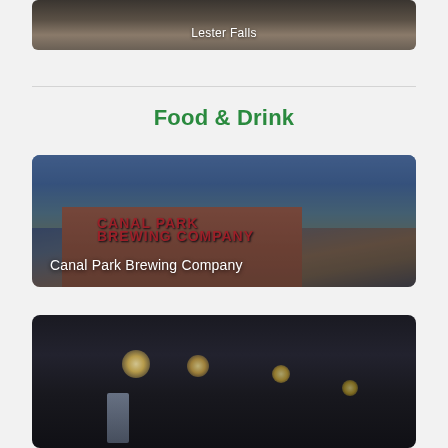[Figure (photo): Lester Falls photo with dark rocky/water scene and white text label]
Lester Falls
Food & Drink
[Figure (photo): Canal Park Brewing Company building exterior with red signage against blue sky]
Canal Park Brewing Company
[Figure (photo): Dark interior restaurant/bar scene with warm overhead lights]